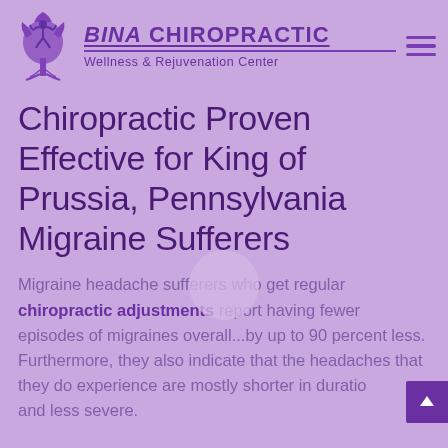[Figure (logo): Bina Chiropractic logo with a tree and human figure silhouette in purple, with brand name and subtitle]
Chiropractic Proven Effective for King of Prussia, Pennsylvania Migraine Sufferers
Migraine headache sufferers who get regular chiropractic adjustments report having fewer episodes of migraines overall...by up to 90 percent less. Furthermore, they also indicate that the headaches that they do experience are mostly shorter in duration and less severe.
Less Reliance on Medication